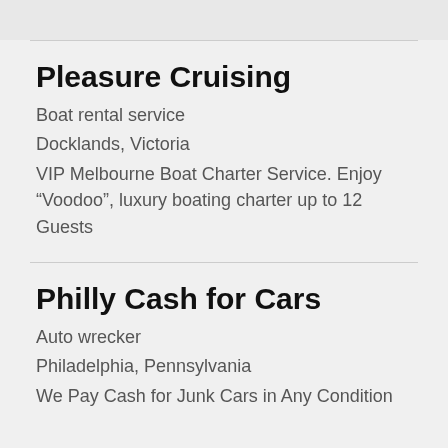Pleasure Cruising
Boat rental service
Docklands, Victoria
VIP Melbourne Boat Charter Service. Enjoy “Voodoo”, luxury boating charter up to 12 Guests
Philly Cash for Cars
Auto wrecker
Philadelphia, Pennsylvania
We Pay Cash for Junk Cars in Any Condition